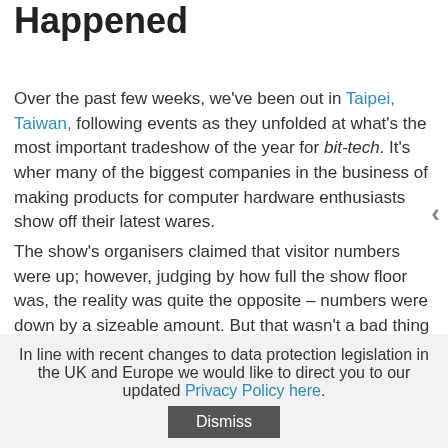Happened
Over the past few weeks, we've been out in Taipei, Taiwan, following events as they unfolded at what's the most important tradeshow of the year for bit-tech. It's where many of the biggest companies in the business of making products for computer hardware enthusiasts show off their latest wares.
The show's organisers claimed that visitor numbers were up; however, judging by how full the show floor was, the reality was quite the opposite – numbers were down by a sizeable amount. But that wasn't a bad thing in our eyes, because it made for a much more manageable show schedule on our part.
In line with recent changes to data protection legislation in the UK and Europe we would like to direct you to our updated Privacy Policy here.